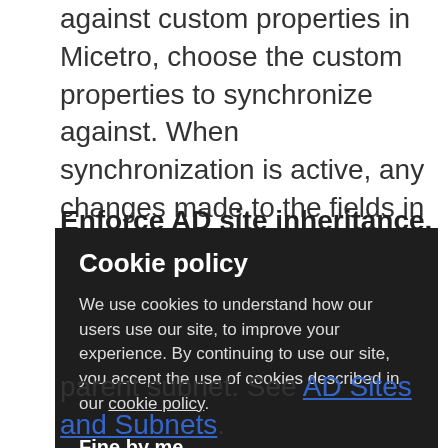against custom properties in Micetro, choose the custom properties to synchronize against. When synchronization is active, any changes made to the fields in Active Directory will update the corresponding fields in Micetro and vice versa. See AD Sites and Subnets.
Enforce AD site inheritance.
[Figure (screenshot): Cookie policy overlay with dark background. Title: 'Cookie policy'. Body text: 'We use cookies to understand how our users use our site, to improve your experience. By continuing to use our site, you accept the use of cookies described in our cookie policy.' Button/link: 'Fine by me']
parent subnet. See AD Sites and Subnets.